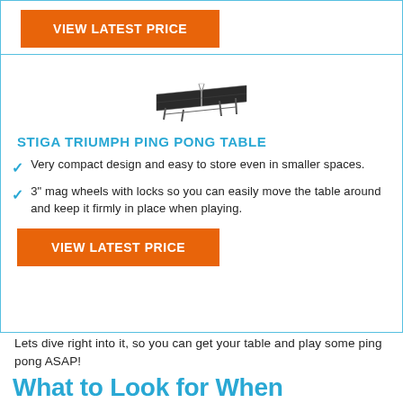[Figure (other): Orange button labeled VIEW LATEST PRICE at top of card]
[Figure (photo): Photo of a ping pong table (STIGA Triumph) viewed from above-angle]
STIGA TRIUMPH PING PONG TABLE
Very compact design and easy to store even in smaller spaces.
3" mag wheels with locks so you can easily move the table around and keep it firmly in place when playing.
[Figure (other): Orange button labeled VIEW LATEST PRICE inside card]
Lets dive right into it, so you can get your table and play some ping pong ASAP!
What to Look for When